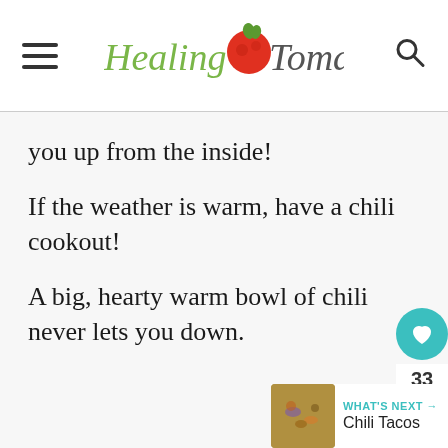Healing Tomato
you up from the inside!
If the weather is warm, have a chili cookout!
A big, hearty warm bowl of chili never lets you down.
[Figure (other): Heart/like button (teal circle with heart icon), count 33, and share button (white circle with share icon)]
[Figure (other): What's Next widget showing a thumbnail image of chili tacos and the label WHAT'S NEXT with arrow and text Chili Tacos]